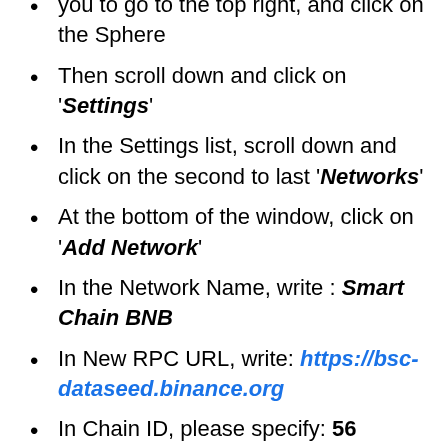you to go to the top right, and click on the Sphere
Then scroll down and click on 'Settings'
In the Settings list, scroll down and click on the second to last 'Networks'
At the bottom of the window, click on 'Add Network'
In the Network Name, write : Smart Chain BNB
In New RPC URL, write: https://bsc-dataseed.binance.org
In Chain ID, please specify: 56